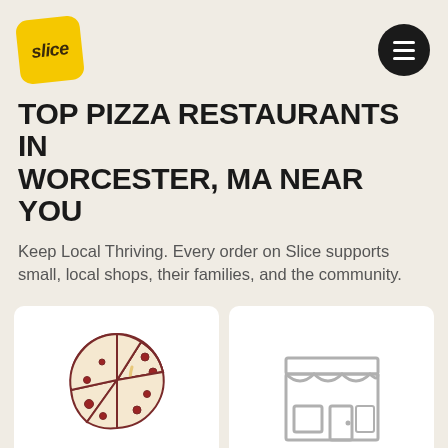[Figure (logo): Slice app logo — yellow rounded square with italic bold 'slice' text, slightly rotated]
[Figure (other): Dark circular hamburger menu button with three white horizontal lines]
TOP PIZZA RESTAURANTS IN WORCESTER, MA NEAR YOU
Keep Local Thriving. Every order on Slice supports small, local shops, their families, and the community.
[Figure (logo): Family Table pizza logo: circular pizza illustration with a slice being lifted, red/brown colors, with 'Family Table' italic script below]
[Figure (illustration): Gray line-art storefront icon — shop with awning, window, and door]